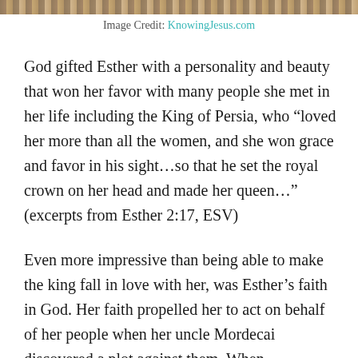[Figure (photo): Partial view of an illustrated image at the top of the page, showing ornate historical or biblical scene]
Image Credit: KnowingJesus.com
God gifted Esther with a personality and beauty that won her favor with many people she met in her life including the King of Persia, who “loved her more than all the women, and she won grace and favor in his sight…so that he set the royal crown on her head and made her queen…” (excerpts from Esther 2:17, ESV)
Even more impressive than being able to make the king fall in love with her, was Esther’s faith in God. Her faith propelled her to act on behalf of her people when her uncle Mordecai discovered a plot against them. When